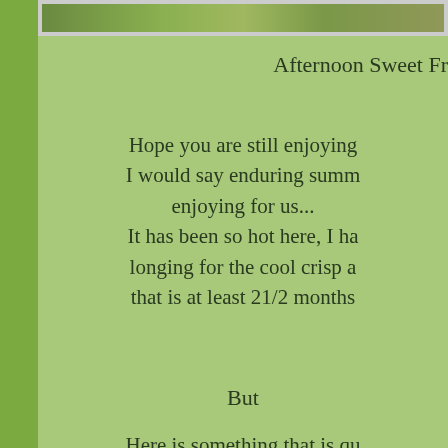[Figure (photo): A photograph of a natural outdoor scene with green foliage, shown at the top of the page in a framed border.]
Afternoon Sweet Fr
Hope you are still enjoying
I would say enduring summ
enjoying for us...
It has been so hot here, I ha
longing for the cool crisp a
that is at least 21/2 months
But
Here is something that is qu
to us anyway.......and might